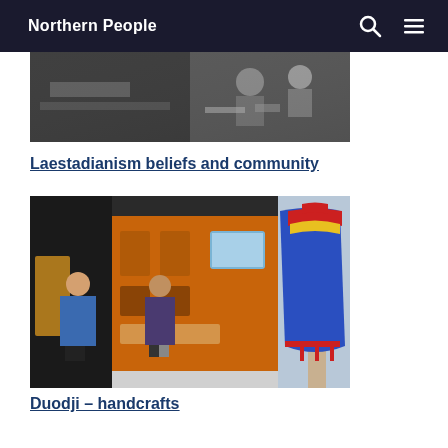Northern People
[Figure (photo): Black and white photo showing people at a table or workbench, appearing to be engaged in some activity]
Laestadianism beliefs and community
[Figure (photo): Color photo of a museum exhibition showing people viewing displays, with a blue Sami traditional garment/gákti on a mannequin prominently visible on the right, and orange walls with mounted displays in the background]
Duodji – handcrafts